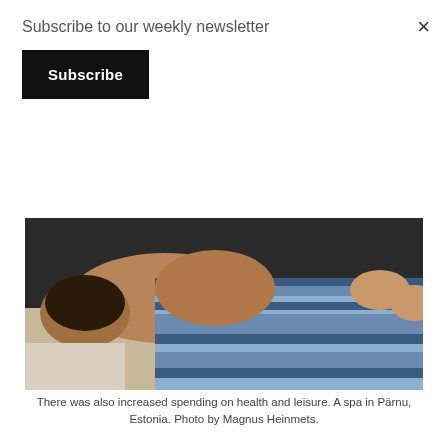Subscribe to our weekly newsletter
Subscribe
[Figure (photo): A person lying face down on a massage table, draped with a blue and white striped towel, receiving a massage at a spa in Pärnu, Estonia.]
There was also increased spending on health and leisure. A spa in Pärnu, Estonia. Photo by Magnus Heinmets.
Investments fell by 38.4%, but this was due to the exceptionally high reference base, the agency said.
“The fall was mainly the result of the decrease in enterprises' investments in computer software and